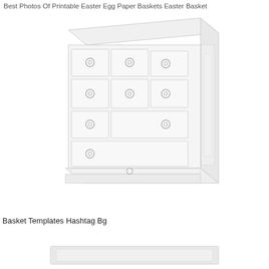Best Photos Of Printable Easter Egg Paper Baskets Easter Basket
[Figure (illustration): A white painted wooden dresser with multiple drawers arranged in rows, shown in a slightly angled 3/4 perspective view. Each drawer has a circular ring pull handle. The dresser has a classic/traditional style with panel detail on the right side.]
Basket Templates Hashtag Bg
[Figure (illustration): A partial view of another furniture piece, appearing at the bottom of the page, mostly cut off.]